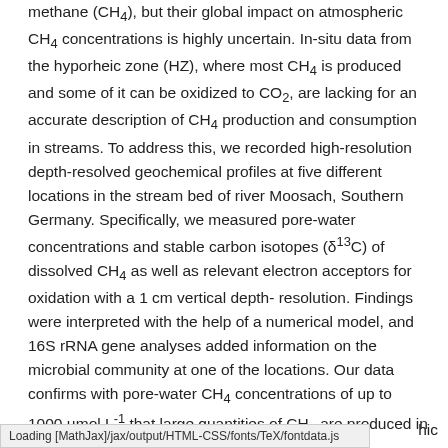methane (CH4), but their global impact on atmospheric CH4 concentrations is highly uncertain. In-situ data from the hyporheic zone (HZ), where most CH4 is produced and some of it can be oxidized to CO2, are lacking for an accurate description of CH4 production and consumption in streams. To address this, we recorded high-resolution depth-resolved geochemical profiles at five different locations in the stream bed of river Moosach, Southern Germany. Specifically, we measured pore-water concentrations and stable carbon isotopes (δ¹³C) of dissolved CH4 as well as relevant electron acceptors for oxidation with a 1 cm vertical depth-resolution. Findings were interpreted with the help of a numerical model, and 16S rRNA gene analyses added information on the microbial community at one of the locations. Our data confirms with pore-water CH4 concentrations of up to 1000 µmol L⁻¹ that large quantities of CH4 are produced in the HZ. Stable isotope
Loading [MathJax]/jax/output/HTML-CSS/fonts/TeX/fontdata.js